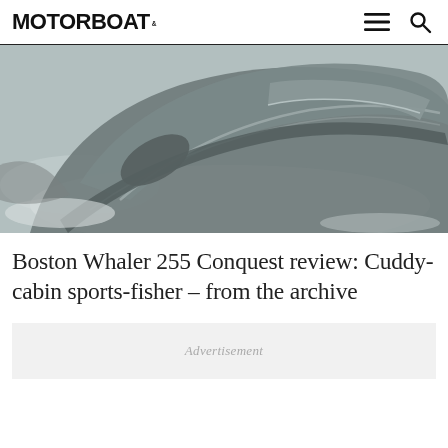MOTORBOAT
[Figure (photo): Aerial/overhead view of a Boston Whaler 255 Conquest motorboat on the water, showing the bow and hull cutting through choppy grey water, black and white/greyscale tone.]
Boston Whaler 255 Conquest review: Cuddy-cabin sports-fisher – from the archive
Advertisement